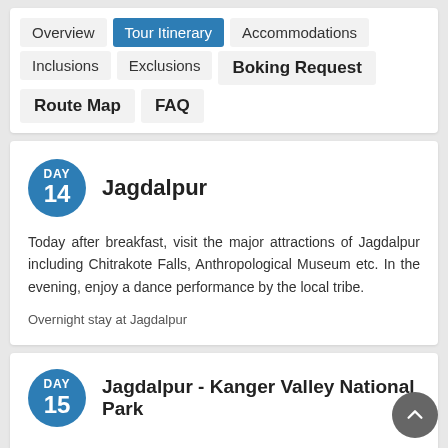Tour Itinerary
Overview
Tour Itinerary
Accommodations
Inclusions
Exclusions
Boking Request
Route Map
FAQ
DAY 14 Jagdalpur
Today after breakfast, visit the major attractions of Jagdalpur including Chitrakote Falls, Anthropological Museum etc. In the evening, enjoy a dance performance by the local tribe.
Overnight stay at Jagdalpur
DAY 15 Jagdalpur - Kanger Valley National Park